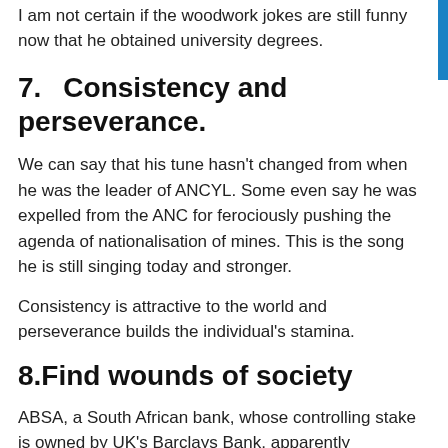I am not certain if the woodwork jokes are still funny now that he obtained university degrees.
7.    Consistency and perseverance.
We can say that his tune hasn’t changed from when he was the leader of ANCYL. Some even say he was expelled from the ANC for ferociously pushing the agenda of nationalisation of mines. This is the song he is still singing today and stronger.
Consistency is attractive to the world and perseverance builds the individual’s stamina.
8.    Find wounds of society
ABSA, a South African bank, whose controlling stake is owned by UK’s Barclays Bank, apparently ‘imported’ 500